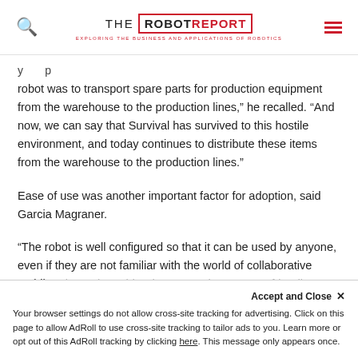THE ROBOT REPORT — EXPLORING THE BUSINESS AND APPLICATIONS OF ROBOTICS
robot was to transport spare parts for production equipment from the warehouse to the production lines,” he recalled. “And now, we can say that Survival has survived to this hostile environment, and today continues to distribute these items from the warehouse to the production lines.”
Ease of use was another important factor for adoption, said Garcia Magraner.
“The robot is well configured so that it can be used by anyone, even if they are not familiar with the world of collaborative mobile robots,” he said. “The system is very user-friendly…
Your browser settings do not allow cross-site tracking for advertising. Click on this page to allow AdRoll to use cross-site tracking to tailor ads to you. Learn more or opt out of this AdRoll tracking by clicking here. This message only appears once.